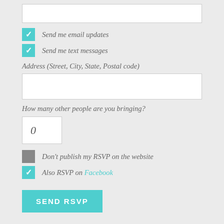[Figure (screenshot): Text input field (white box, empty)]
Send me email updates
Send me text messages
Address (Street, City, State, Postal code)
[Figure (screenshot): Address text input field (white box, empty)]
How many other people are you bringing?
[Figure (screenshot): Number input box showing 0]
Don't publish my RSVP on the website
Also RSVP on Facebook
SEND RSVP